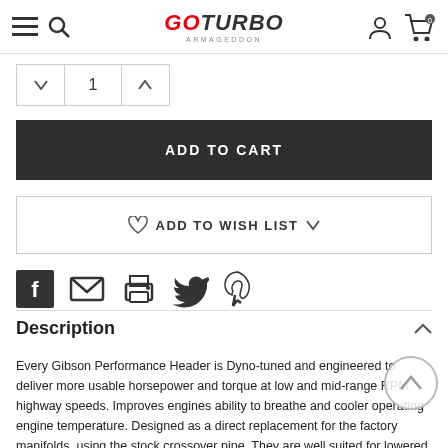GOTURBO ARMAGEDDON
1 (quantity selector)
ADD TO CART
ADD TO WISH LIST
[Figure (other): Social sharing icons: Facebook, Email, Print, Twitter, Pinterest]
Description
Every Gibson Performance Header is Dyno-tuned and engineered to deliver more usable horsepower and torque at low and mid-range RPM highway speeds. Improves engines ability to breathe and cooler operating engine temperature. Designed as a direct replacement for the factory manifolds, using the stock crossover pipe. They are well suited for lowered and raised vehicles, street and off-road. 50 State Street legal. Meets EPA and CARB